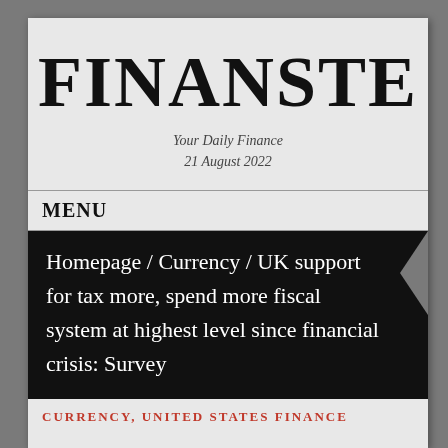FINANSTE
Your Daily Finance
21 August 2022
MENU
Homepage / Currency / UK support for tax more, spend more fiscal system at highest level since financial crisis: Survey
CURRENCY, UNITED STATES FINANCE